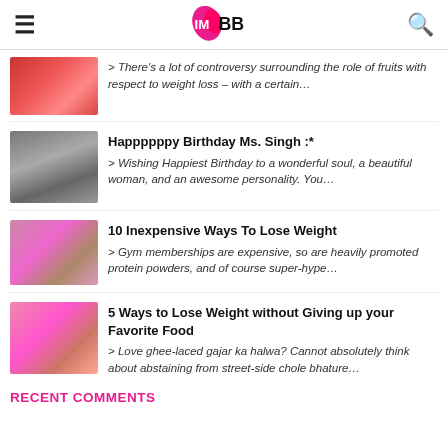IMBB
> There's a lot of controversy surrounding the role of fruits with respect to weight loss – with a certain…
Happppppy Birthday Ms. Singh :*
> Wishing Happiest Birthday to a wonderful soul, a beautiful woman, and an awesome personality. You…
10 Inexpensive Ways To Lose Weight
> Gym memberships are expensive, so are heavily promoted protein powders, and of course super-hype…
5 Ways to Lose Weight without Giving up your Favorite Food
> Love ghee-laced gajar ka halwa? Cannot absolutely think about abstaining from street-side chole bhature…
RECENT COMMENTS